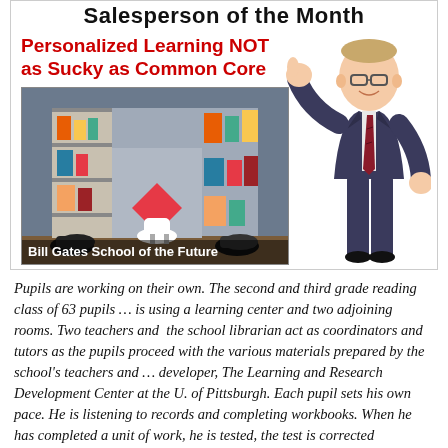Salesperson of the Month
Personalized Learning NOT as Sucky as Common Core
[Figure (photo): Colorful closet/shelf room labeled 'Bill Gates School of the Future' with a suited man giving thumbs up]
Bill Gates School of the Future
Pupils are working on their own. The second and third grade reading class of 63 pupils … is using a learning center and two adjoining rooms. Two teachers and  the school librarian act as coordinators and tutors as the pupils proceed with the various materials prepared by the school's teachers and … developer, The Learning and Research Development Center at the U. of Pittsburgh. Each pupil sets his own pace. He is listening to records and completing workbooks. When he has completed a unit of work, he is tested, the test is corrected immediately, and if he gets a grade of 85% or better he moves on, if not, the teacher offers a series of